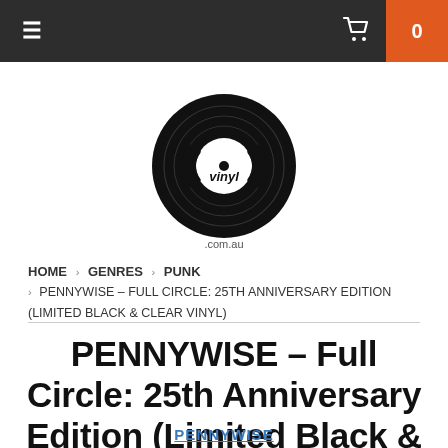≡  [cart icon] 0
[Figure (logo): vinyl.com.au logo — black vinyl record with sound waves and 'vinyl .com.au' text]
HOME › GENRES › PUNK › PENNYWISE – FULL CIRCLE: 25TH ANNIVERSARY EDITION (LIMITED BLACK & CLEAR VINYL)
PENNYWISE – Full Circle: 25th Anniversary Edition (Limited Black & Clear Vinyl)
PENNYWISE